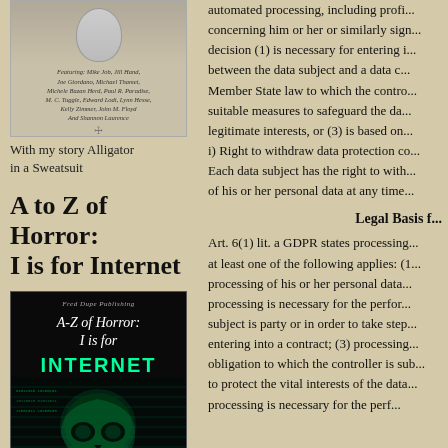[Figure (illustration): Book cover with a face/portrait photo and contributor names text. Title appears to be a fiction anthology.]
With my story Alligator in a Sweatsuit
A to Z of Horror: I is for Internet
[Figure (photo): Book cover for 'A-Z of Horror: I is for Internet' published by Fred Dupe Publishing. Dark cover with a skull made of digital/code patterns and the title in glowing green text.]
automated processing, including profiling, concerning him or her or similarly significant decision (1) is necessary for entering into, between the data subject and a data c... Member State law to which the contro... suitable measures to safeguard the da... legitimate interests, or (3) is based on... i) Right to withdraw data protection co... Each data subject has the right to with... of his or her personal data at any time...
Legal Basis f...
Art. 6(1) lit. a GDPR states processing... at least one of the following applies: (1... processing of his or her personal data... processing is necessary for the perfor... subject is party or in order to take step... entering into a contract; (3) processing... obligation to which the controller is sub... to protect the vital interests of the data... processing is necessary for the perf...